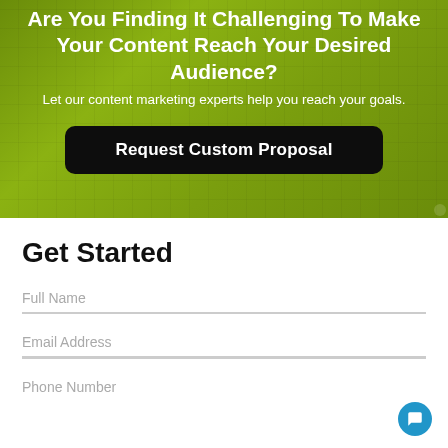Are You Finding It Challenging To Make Your Content Reach Your Desired Audience?
Let our content marketing experts help you reach your goals.
Request Custom Proposal
Get Started
Full Name
Email Address
Phone Number